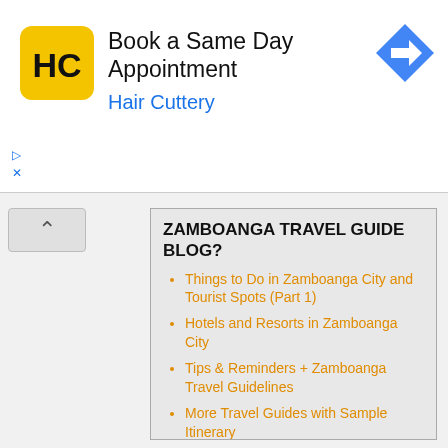[Figure (screenshot): Hair Cuttery advertisement banner with logo, heading 'Book a Same Day Appointment', subheading 'Hair Cuttery', and a blue direction arrow icon on the right.]
ZAMBOANGA TRAVEL GUIDE BLOG?
Things to Do in Zamboanga City and Tourist Spots (Part 1)
Hotels and Resorts in Zamboanga City
Tips & Reminders + Zamboanga Travel Guidelines
More Travel Guides with Sample Itinerary